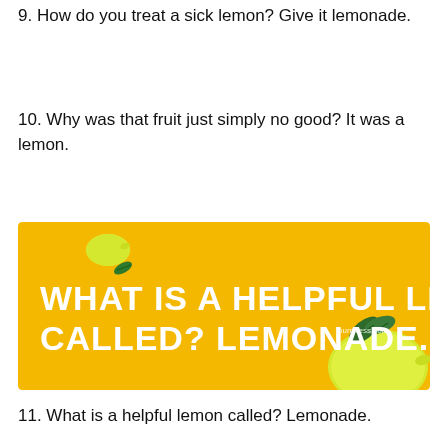9. How do you treat a sick lemon? Give it lemonade.
10. Why was that fruit just simply no good? It was a lemon.
[Figure (infographic): Yellow banner with white bold text reading 'WHAT IS A HELPFUL LEMON CALLED? LEMONADE.' with lemon illustrations and punpress.com watermark]
11. What is a helpful lemon called? Lemonade.